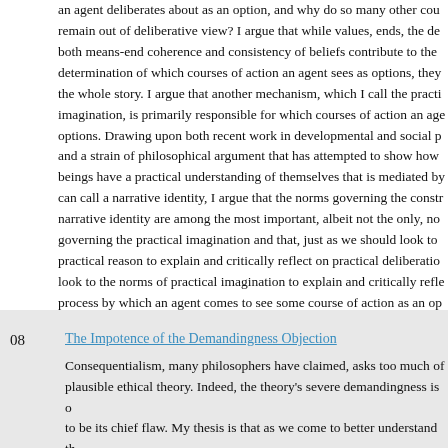an agent deliberates about as an option, and why do so many other courses remain out of deliberative view? I argue that while values, ends, the desires, both means-end coherence and consistency of beliefs contribute to the determination of which courses of action an agent sees as options, they are not the whole story. I argue that another mechanism, which I call the practical imagination, is primarily responsible for which courses of action an agent sees as options. Drawing upon both recent work in developmental and social psychology and a strain of philosophical argument that has attempted to show how human beings have a practical understanding of themselves that is mediated by what we can call a narrative identity, I argue that the norms governing the construction of narrative identity are among the most important, albeit not the only, norms governing the practical imagination and that, just as we should look to norms of practical reason to explain and critically reflect on practical deliberation, we should look to the norms of practical imagination to explain and critically reflect on the process by which an agent comes to see some course of action as an op
08
The Impotence of the Demandingness Objection
Consequentialism, many philosophers have claimed, asks too much of us to be a plausible ethical theory. Indeed, the theory's severe demandingness is often taken to be its chief flaw. My thesis is that as we come to better understand the objection, we see that, even if it signals or tracks the existence of a real problem for Consequentialism, it cannot itself be a fundamental problem with the view. The objection cannot itself provide good reason to break with Consequentis